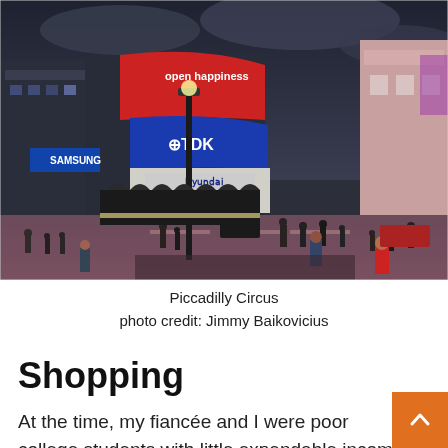[Figure (photo): Photograph of Piccadilly Circus in London at dusk. Large illuminated advertising billboards visible including TDK, Hyundai, and Coca-Cola 'open happiness'. Buildings, a lamp post, pedestrians, and vehicles visible. Photo credit: Jimmy Baikovicius.]
Piccadilly Circus
photo credit: Jimmy Baikovicius
Shopping
At the time, my fiancée and I were poor college students with little expendable income for shopping. However, London is a great place to